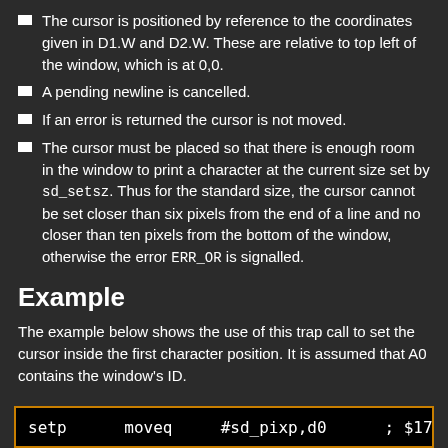The cursor is positioned by reference to the coordinates given in D1.W and D2.W. These are relative to top left of the window, which is at 0,0.
A pending newline is cancelled.
If an error is returned the cursor is not moved.
The cursor must be placed so that there is enough room in the window to print a character at the current size set by sd_setsz. Thus for the standard size, the cursor cannot be set closer than six pixels from the end of a line and no closer than ten pixels from the bottom of the window, otherwise the error ERR_OR is signalled.
Example
The example below shows the use of this trap call to set the cursor inside the first character position. It is assumed that A0 contains the window's ID.
setp      moveq     #sd_pixp,d0      ; $17